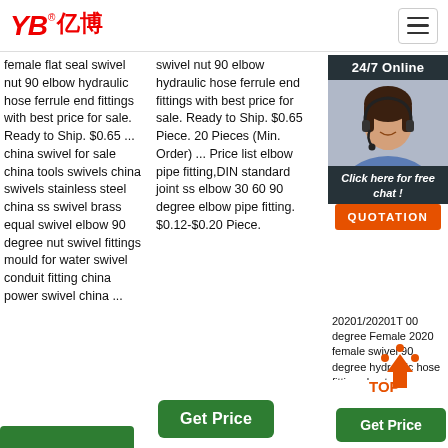[Figure (logo): YB 亿博 logo in red with registered trademark symbol]
female flat seal swivel nut 90 elbow hydraulic hose ferrule end fittings with best price for sale. Ready to Ship. $0.65 ... china swivel for sale china tools swivels china swivels stainless steel china ss swivel brass equal swivel elbow 90 degree nut swivel fittings mould for water swivel conduit fitting china power swivel china ...
swivel nut 90 elbow hydraulic hose ferrule end fittings with best price for sale. Ready to Ship. $0.65 Piece. 20 Pieces (Min. Order) ... Price list elbow pipe fitting,DIN standard joint ss elbow 30 60 90 degree elbow pipe fitting. $0.12-$0.20 Piece.
[Figure (screenshot): 24/7 Online chat popup with customer service representative photo, Click here for free chat!, and QUOTATION button]
20201/20201T 00 degree Female 2020 female swivel 90 degree hydraulic hose fittings best price Weihai Machine Technology Ltd. US $0.65 Piece ...
[Figure (illustration): TOP arrow icon in orange/red pointing upward with dots]
Get Price
Get Price
Get Price